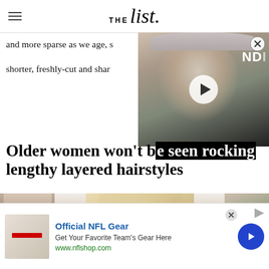THE List
and more sparse as we age, s shorter, freshly-cut and shar
[Figure (screenshot): Video thumbnail showing an older woman with short gray hair, with a play button overlay. Text 'NDI' visible.]
Older women won't be seen rocking lengthy layered hairstyles
[Figure (photo): Three-panel photo strip showing a blonde woman with long layered hair wearing a dark teal top, photographed from slightly different angles.]
Official NFL Gear
Get Your Favorite Team's Gear Here
www.nflshop.com